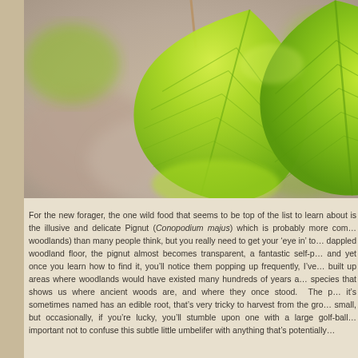[Figure (photo): Close-up macro photograph of bright green leaves with visible veins, against a soft blurred pink/brown bokeh background, suggesting a woodland setting.]
For the new forager, the one wild food that seems to be top of the list to learn about is the illusive and delicate Pignut (Conopodium majus) which is probably more common (in woodlands) than many people think, but you really need to get your 'eye in' to spot it. On a dappled woodland floor, the pignut almost becomes transparent, a fantastic self-preservation trick, and yet once you learn how to find it, you'll notice them popping up frequently, I've even found them in built up areas where woodlands would have existed many hundreds of years ago. It's a woodland species that shows us where ancient woods are, and where they once stood. The pignut as it's sometimes named has an edible root, that's very tricky to harvest from the ground as it's usually small, but occasionally, if you're lucky, you'll stumble upon one with a large golf-ball... important not to confuse this subtle little umbelifer with anything that's potentially...